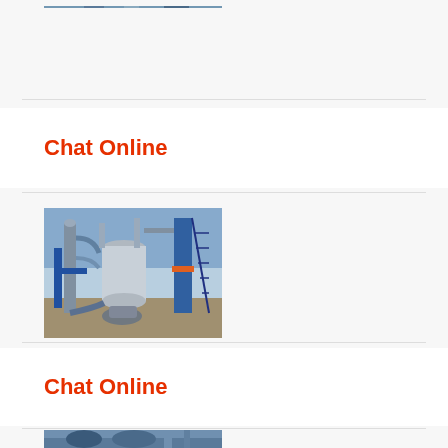[Figure (photo): Partial view of industrial machinery/equipment at top of page, cropped]
Chat Online
[Figure (photo): Industrial plant machinery with large cylindrical tanks, pipes, blue metal structures, and stairs visible outdoors under blue sky]
Chat Online
[Figure (photo): Partial view of industrial machinery/equipment at bottom of page, cropped]